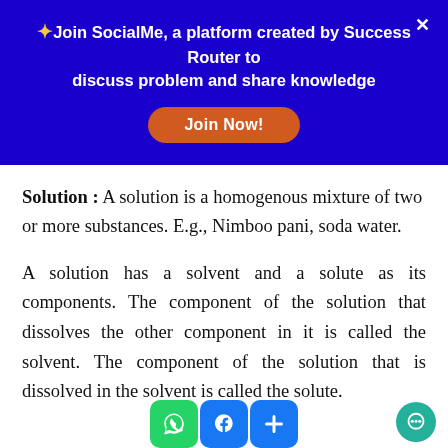[Figure (infographic): Dark blue banner with text promoting SocialMe platform by Success Router, with a Join Now button and close X icon]
Solution : A solution is a homogenous mixture of two or more substances. E.g., Nimboo pani, soda water.
A solution has a solvent and a solute as its components. The component of the solution that dissolves the other component in it is called the solvent. The component of the solution that is dissolved in the solvent is called the solute.
[Figure (infographic): Bottom bar with WhatsApp, Facebook, and plus icons, and a teal chat bubble icon on the right]